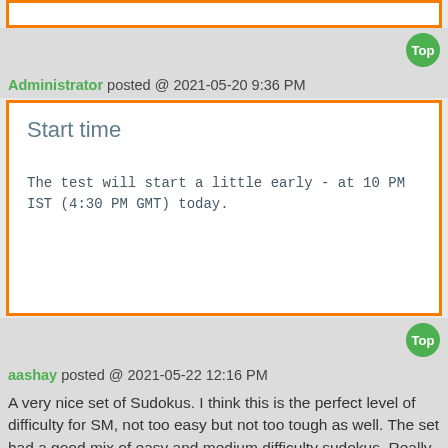[Figure (screenshot): Orange-bordered white box at top (partial, cropped)]
Top
Administrator posted @ 2021-05-20 9:36 PM
Start time
The test will start a little early - at 10 PM IST (4:30 PM GMT) today.
Top
aashay posted @ 2021-05-22 12:16 PM
A very nice set of Sudokus. I think this is the perfect level of difficulty for SM, not too easy but not too tough as well. The set had a good mix of easy and medium difficulty sudokus. Really glad to finish the set. Thanks James for the Sudokus!